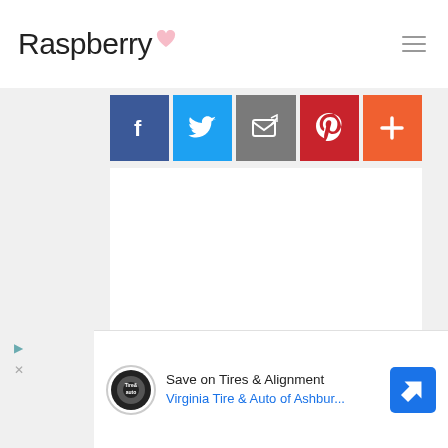Raspberry
[Figure (screenshot): Social share buttons row: Facebook (blue), Twitter (light blue), Email/share (gray), Pinterest (red), More/plus (orange)]
[Figure (screenshot): Advertisement banner: Save on Tires & Alignment - Virginia Tire & Auto of Ashbur... with tire&auto logo and navigation icon]